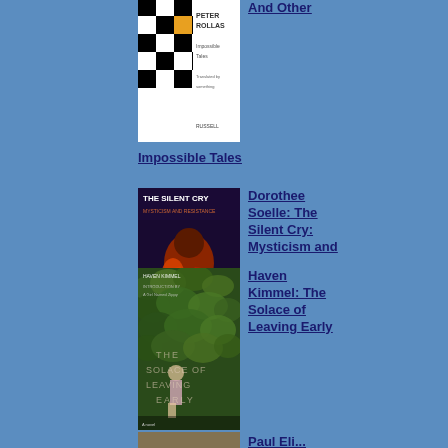[Figure (illustration): Book cover for Impossible Tales by Peter Rollas, featuring a black and white checkerboard pattern with an orange square detail]
Impossible Tales
[Figure (illustration): Book cover for The Silent Cry: Mysticism and Resistance by Dorothee Soelle, featuring abstract figure in red and brown tones on dark background]
Dorothee Soelle: The Silent Cry: Mysticism and
Resistance
[Figure (illustration): Book cover for The Solace of Leaving Early by Haven Kimmel, featuring lush green foliage with a figure in background]
Haven Kimmel: The Solace of Leaving Early
[Figure (illustration): Partial book cover, earthy brown tones]
Paul Eli...